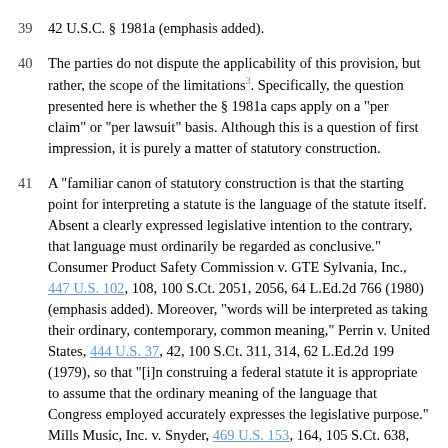39  42 U.S.C. § 1981a (emphasis added).
40  The parties do not dispute the applicability of this provision, but rather, the scope of the limitations[3]. Specifically, the question presented here is whether the § 1981a caps apply on a "per claim" or "per lawsuit" basis. Although this is a question of first impression, it is purely a matter of statutory construction.
41  A "familiar canon of statutory construction is that the starting point for interpreting a statute is the language of the statute itself. Absent a clearly expressed legislative intention to the contrary, that language must ordinarily be regarded as conclusive." Consumer Product Safety Commission v. GTE Sylvania, Inc., 447 U.S. 102, 108, 100 S.Ct. 2051, 2056, 64 L.Ed.2d 766 (1980) (emphasis added). Moreover, "words will be interpreted as taking their ordinary, contemporary, common meaning," Perrin v. United States, 444 U.S. 37, 42, 100 S.Ct. 311, 314, 62 L.Ed.2d 199 (1979), so that "[i]n construing a federal statute it is appropriate to assume that the ordinary meaning of the language that Congress employed accurately expresses the legislative purpose." Mills Music, Inc. v. Snyder, 469 U.S. 153, 164, 105 S.Ct. 638, 645, 83 L.Ed.2d 556 (1985). Therefore, if the words of the statute are unambiguous, the